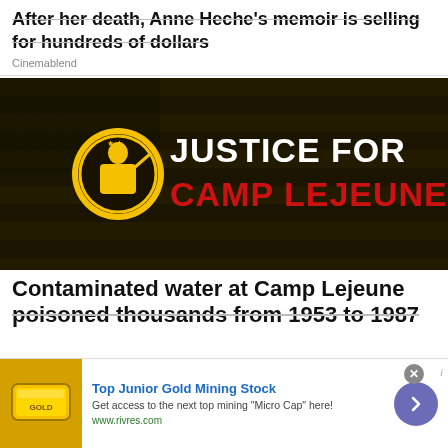After her death, Anne Heche's memoir is selling for hundreds of dollars
Cinemablend
[Figure (illustration): Dark olive/black American flag background with a circular yellow emblem featuring a soldier saluting, and bold text reading 'JUSTICE FOR CAMP LEJEUNE' in white and red letters]
Contaminated water at Camp Lejeune poisoned thousands from 1953 to 1987
[Figure (infographic): Advertisement banner: Top Junior Gold Mining Stock. Get access to the next top mining 'Micro Cap' here! www.rivres.com. Shows gold bar image on left and a blue arrow button on right. Has an X close button.]